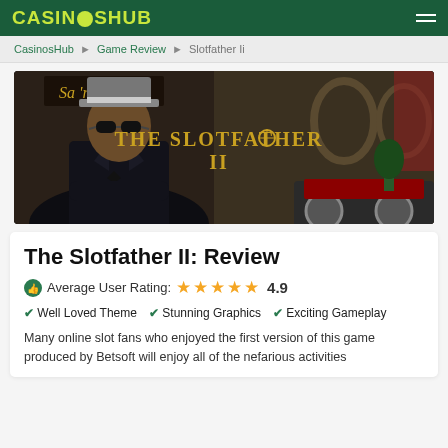CasinosHub
CasinosHub ▶ Game Review ▶ Slotfather Ii
[Figure (screenshot): Hero banner image for The Slotfather II slot game, showing a mafia-themed character in a suit and fedora hat with sunglasses, with 'The Slotfather II' title text in gold letters against a 1920s speakeasy background]
The Slotfather II: Review
Average User Rating: 4.9 stars
✔ Well Loved Theme  ✔ Stunning Graphics  ✔ Exciting Gameplay
Many online slot fans who enjoyed the first version of this game produced by Betsoft will enjoy all of the nefarious activities